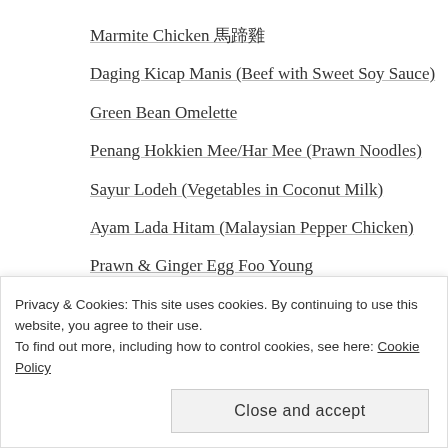Marmite Chicken 馬蹄雞
Daging Kicap Manis (Beef with Sweet Soy Sauce)
Green Bean Omelette
Penang Hokkien Mee/Har Mee (Prawn Noodles)
Sayur Lodeh (Vegetables in Coconut Milk)
Ayam Lada Hitam (Malaysian Pepper Chicken)
Prawn & Ginger Egg Foo Young
Sichuan Stir-Fry Cabbage 四川炒椰菜
Lai Yao Kei 懶人雞 (Malaysian Butter Chicken)
Privacy & Cookies: This site uses cookies. By continuing to use this website, you agree to their use.
To find out more, including how to control cookies, see here: Cookie Policy
Close and accept